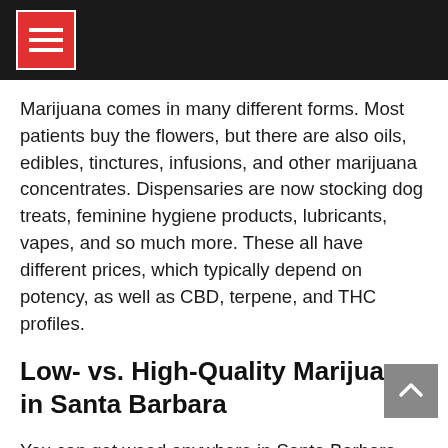≡
Marijuana comes in many different forms. Most patients buy the flowers, but there are also oils, edibles, tinctures, infusions, and other marijuana concentrates. Dispensaries are now stocking dog treats, feminine hygiene products, lubricants, vapes, and so much more. These all have different prices, which typically depend on potency, as well as CBD, terpene, and THC profiles.
Low- vs. High-Quality Marijuana in Santa Barbara
You can get weed anywhere in Santa Barbara. Just stop someone and ask. You will soon know exactly where to go. Everyone sells something or knows someone who does, but you cannot always be sure of what you will get. Buying from an illegal dealer, a friend's friend, or someone you just met will likely get you a seedy, browner than green,